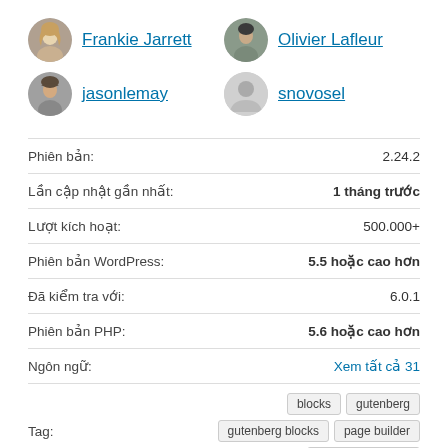[Figure (photo): Avatar of Frankie Jarrett - circular profile photo]
Frankie Jarrett
[Figure (photo): Avatar of Olivier Lafleur - circular profile photo]
Olivier Lafleur
[Figure (photo): Avatar of jasonlemay - circular profile photo]
jasonlemay
[Figure (photo): Avatar of snovosel - circular gray silhouette]
snovosel
| Phiên bản: | 2.24.2 |
| Lần cập nhật gần nhất: | 1 tháng trước |
| Lượt kích hoạt: | 500.000+ |
| Phiên bản WordPress: | 5.5 hoặc cao hơn |
| Đã kiểm tra với: | 6.0.1 |
| Phiên bản PHP: | 5.6 hoặc cao hơn |
| Ngôn ngữ: | Xem tất cả 31 |
| Tag: | blocks  gutenberg  gutenberg blocks  page builder  wordpress blocks |